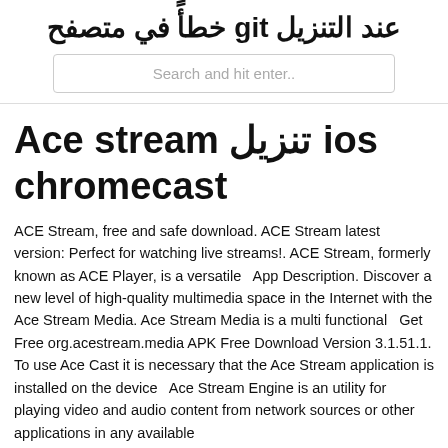عند التنزيل git خطأً في متصفح
Search and hit enter..
Ace stream تنزيل ios chromecast
ACE Stream, free and safe download. ACE Stream latest version: Perfect for watching live streams!. ACE Stream, formerly known as ACE Player, is a versatile   App Description. Discover a new level of high-quality multimedia space in the Internet with the Ace Stream Media. Ace Stream Media is a multi functional  Get Free org.acestream.media APK Free Download Version 3.1.51.1. To use Ace Cast it is necessary that the Ace Stream application is installed on the device   Ace Stream Engine is an utility for playing video and audio content from network sources or other applications in any available